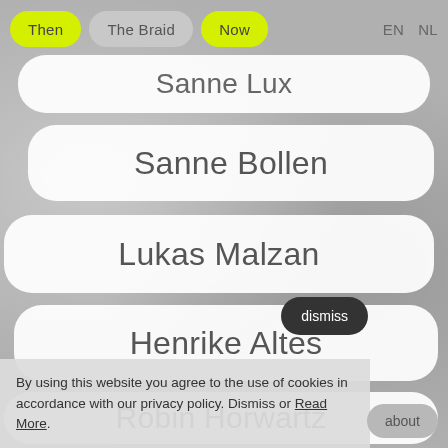Then | The Braid | Now | EN | NL
Sanne Lux
Sanne Bollen
Lukas Malzan
Henrike Altes
Robin Horwartz
dismiss
By using this website you agree to the use of cookies in accordance with our privacy policy. Dismiss or Read More.
about